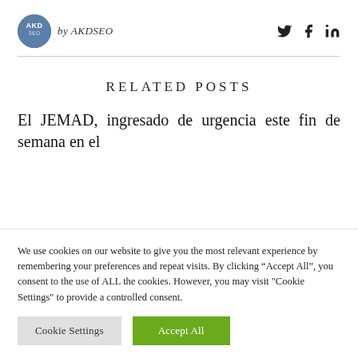by AKDSEO
RELATED POSTS
El JEMAD, ingresado de urgencia este fin de semana en el
We use cookies on our website to give you the most relevant experience by remembering your preferences and repeat visits. By clicking “Accept All”, you consent to the use of ALL the cookies. However, you may visit "Cookie Settings" to provide a controlled consent.